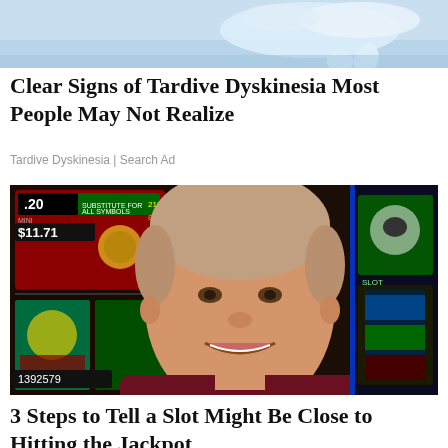[Figure (photo): Partial top image showing blue sky with a liquid/water splash shape, cropped at top of page]
Clear Signs of Tardive Dyskinesia Most People May Not Realize
Tardive Dyskinesia | Search Ad
[Figure (photo): Older man with grey hair wearing a dark red/maroon shirt, smiling broadly in front of casino slot machines displaying $11.71 and number 1392579]
3 Steps to Tell a Slot Might Be Close to Hitting the Jackpot